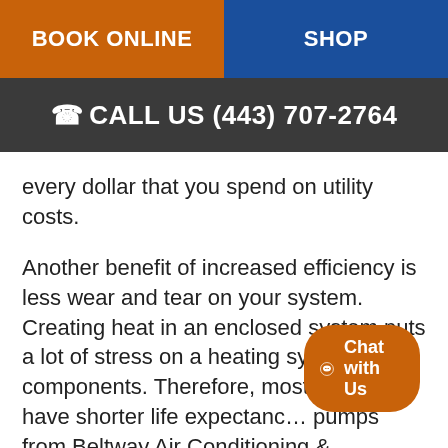BOOK ONLINE | SHOP
CALL US (443) 707-2764
every dollar that you spend on utility costs.
Another benefit of increased efficiency is less wear and tear on your system. Creating heat in an enclosed system puts a lot of stress on a heating system's components. Therefore, most furnaces have shorter life expectanc… pumps from Beltway Air Conditioning &
[Figure (other): Chat with Us button overlay in bottom right corner]